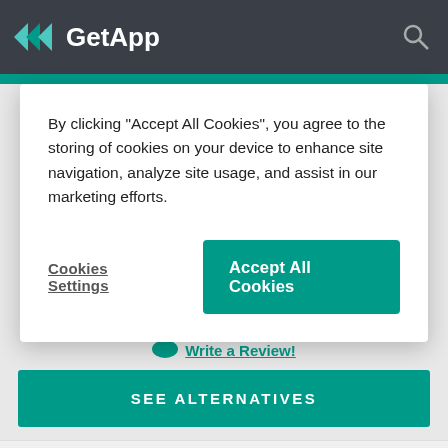GetApp
By clicking “Accept All Cookies”, you agree to the storing of cookies on your device to enhance site navigation, analyze site usage, and assist in our marketing efforts.
Cookies Settings
Accept All Cookies
Write a Review!
SEE ALTERNATIVES
Overview
Images
Features
Alter
About CreateStudio
CreateStudio is a video-making software designed